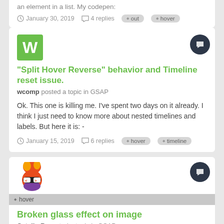an element in a list. My codepen:
January 30, 2019  4 replies  out  hover
[Figure (illustration): Green square avatar with letter W]
"Split Hover Reverse" behavior and Timeline reset issue.
wcomp posted a topic in GSAP
Ok. This one is killing me. I've spent two days on it already. I think I just need to know more about nested timelines and labels. But here it is: -
January 15, 2019  6 replies  hover  timeline
[Figure (logo): CodePen-style mascot avatar icon]
hover
Broken glass effect on image
Catalin R. posted a topic in GSAP